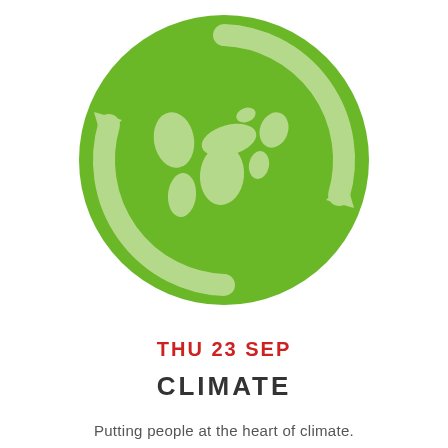[Figure (illustration): A green circular icon featuring a globe (Earth) with continents visible, surrounded by two recycling-style arrows forming a cycle, all in shades of green on a white background.]
THU 23 SEP
CLIMATE
Putting people at the heart of climate.